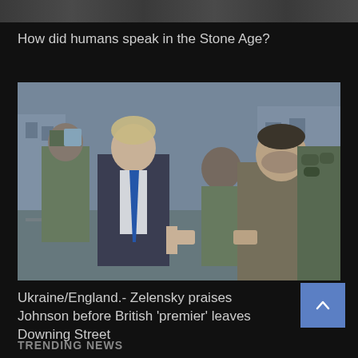[Figure (photo): Top strip image, partially visible, appears to show people]
How did humans speak in the Stone Age?
[Figure (photo): Boris Johnson and Volodymyr Zelensky walking together on a street in Ukraine, accompanied by soldiers in military gear]
Ukraine/England.- Zelensky praises Johnson before British 'premier' leaves Downing Street
TRENDING NEWS